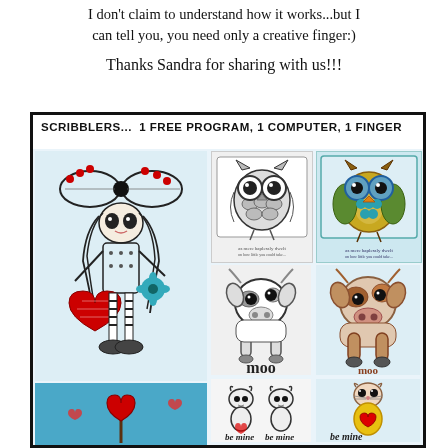I don't claim to understand how it works...but I can tell you, you need only a creative finger:)
Thanks Sandra for sharing with us!!!
[Figure (illustration): Promotional image box with border containing title 'SCRIBBLERS... 1 FREE PROGRAM, 1 COMPUTER, 1 FINGER' and a grid of whimsical hand-drawn style digital artworks: a tall girl with big bow and red heart, black-and-white owl in frame, colorful owl in frame, black-and-white cow 'moo', colorful cow 'moo', black-and-white 'be mine' cat figures, colorful 'be mine' cat figure in yellow dress, and a red heart on a stick in blue background.]